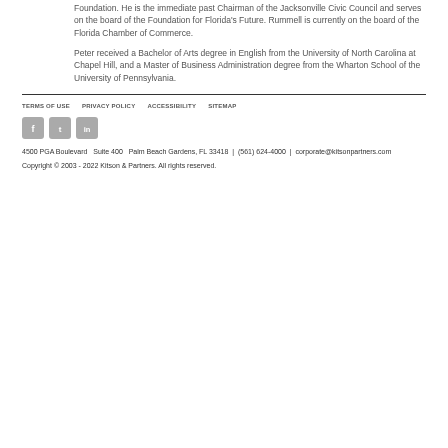Foundation. He is the immediate past Chairman of the Jacksonville Civic Council and serves on the board of the Foundation for Florida's Future. Rummell is currently on the board of the Florida Chamber of Commerce.
Peter received a Bachelor of Arts degree in English from the University of North Carolina at Chapel Hill, and a Master of Business Administration degree from the Wharton School of the University of Pennsylvania.
TERMS OF USE   PRIVACY POLICY   ACCESSIBILITY   SITEMAP
[Figure (other): Social media icons: Facebook, Twitter, LinkedIn]
4500 PGA Boulevard  Suite 400  Palm Beach Gardens, FL 33418  |  (561) 624-4000  |  corporate@kitsonpartners.com
Copyright © 2003 - 2022 Kitson & Partners. All rights reserved.